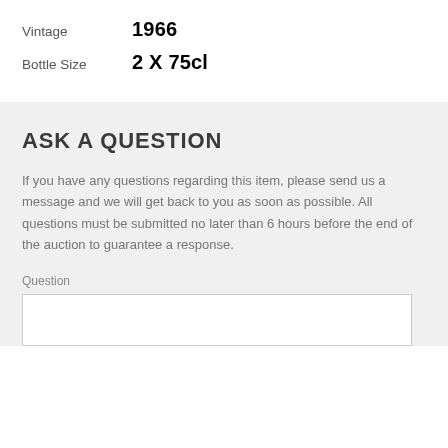Vintage	1966
Bottle Size	2 X 75cl
ASK A QUESTION
If you have any questions regarding this item, please send us a message and we will get back to you as soon as possible. All questions must be submitted no later than 6 hours before the end of the auction to guarantee a response.
Question